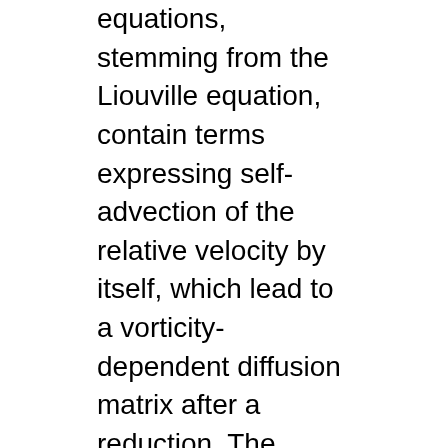equations, stemming from the Liouville equation, contain terms expressing self-advection of the relative velocity by itself, which lead to a vorticity-dependent diffusion matrix after a reduction. The SHTC equations, on the other hand, do not contain such terms. We also show how to formulate a theory of mixtures with two moments and